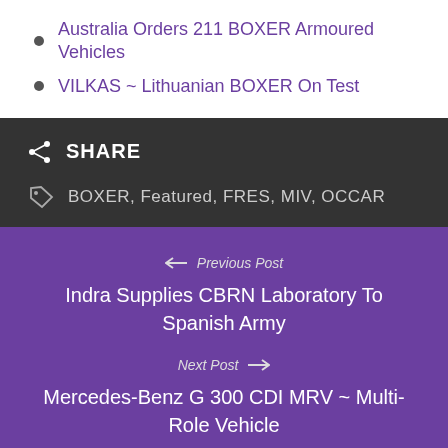Australia Orders 211 BOXER Armoured Vehicles
VILKAS ~ Lithuanian BOXER On Test
SHARE
BOXER, Featured, FRES, MIV, OCCAR
Previous Post
Indra Supplies CBRN Laboratory To Spanish Army
Next Post
Mercedes-Benz G 300 CDI MRV ~ Multi-Role Vehicle